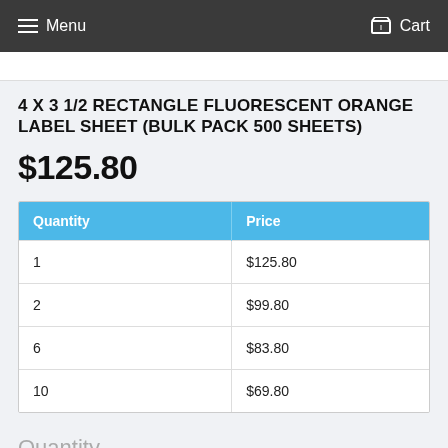Menu   Cart
4 X 3 1/2 RECTANGLE FLUORESCENT ORANGE LABEL SHEET (BULK PACK 500 SHEETS)
$125.80
| Quantity | Price |
| --- | --- |
| 1 | $125.80 |
| 2 | $99.80 |
| 6 | $83.80 |
| 10 | $69.80 |
Quantity